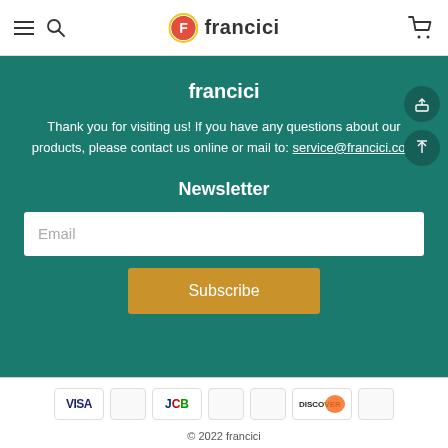francici — navigation header with hamburger, search, logo, and cart
francici
Thank you for visiting us! If you have any questions about our products, please contact us online or mail to: service@francici.com
Newsletter
Email input field
Subscribe
© 2022 francici